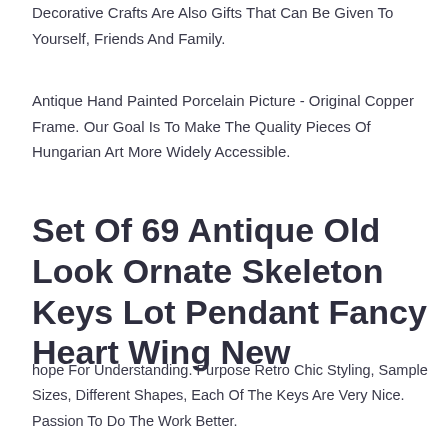Decorative Crafts Are Also Gifts That Can Be Given To Yourself, Friends And Family.
Antique Hand Painted Porcelain Picture - Original Copper Frame. Our Goal Is To Make The Quality Pieces Of Hungarian Art More Widely Accessible.
Set Of 69 Antique Old Look Ornate Skeleton Keys Lot Pendant Fancy Heart Wing New
hope For Understanding. Purpose Retro Chic Styling, Sample Sizes, Different Shapes, Each Of The Keys Are Very Nice. Passion To Do The Work Better.